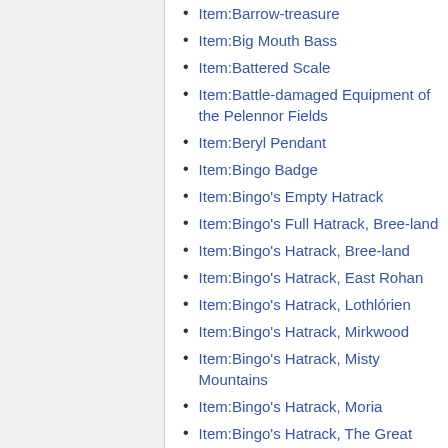Item:Barrow-treasure
Item:Big Mouth Bass
Item:Battered Scale
Item:Battle-damaged Equipment of the Pelennor Fields
Item:Beryl Pendant
Item:Bingo Badge
Item:Bingo's Empty Hatrack
Item:Bingo's Full Hatrack, Bree-land
Item:Bingo's Hatrack, Bree-land
Item:Bingo's Hatrack, East Rohan
Item:Bingo's Hatrack, Lothlórien
Item:Bingo's Hatrack, Mirkwood
Item:Bingo's Hatrack, Misty Mountains
Item:Bingo's Hatrack, Moria
Item:Bingo's Hatrack, The Great River
Item:Bingo's Hatrack, the Lone-lands
Item:Bingo's Hatrack, the Shire